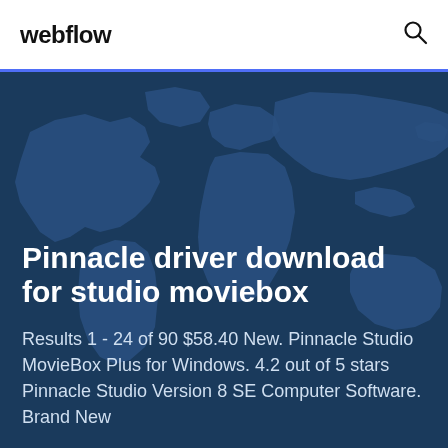webflow
[Figure (illustration): World map illustrated in dark blue tones as a decorative background behind the hero text area]
Pinnacle driver download for studio moviebox
Results 1 - 24 of 90 $58.40 New. Pinnacle Studio MovieBox Plus for Windows. 4.2 out of 5 stars Pinnacle Studio Version 8 SE Computer Software. Brand New